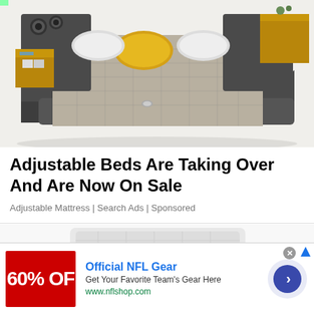[Figure (photo): Large modern platform bed with dark gray upholstered frame, plaid/checkered bedding, yellow accent pillow, built-in wooden side tables with storage shelves, and speakers on the headboard.]
Adjustable Beds Are Taking Over And Are Now On Sale
Adjustable Mattress | Search Ads | Sponsored
[Figure (photo): Partial view of a white mattress surface from an advertisement below the divider line.]
[Figure (infographic): Bottom banner advertisement for Official NFL Gear showing a red box with '60% OFF' text, the brand name 'Official NFL Gear', description 'Get Your Favorite Team's Gear Here', URL 'www.nflshop.com', and a blue circular arrow button on the right.]